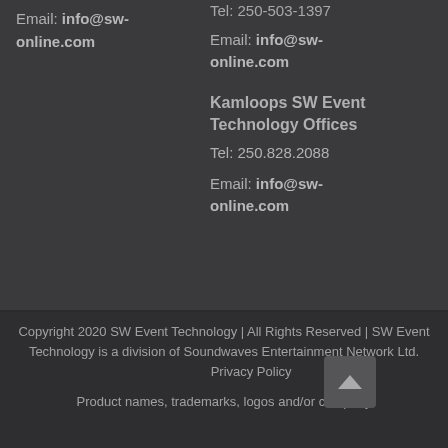Email: info@sw-online.com
Tel: 250-503-1397
Email: info@sw-online.com
Kamloops SW Event Technology Offices
Tel: 250.828.2088
Email: info@sw-online.com
Copyright 2020 SW Event Technology | All Rights Reserved | SW Event Technology is a division of Soundwaves Entertainment Network Ltd. Privacy Policy
Product names, trademarks, logos and/or company